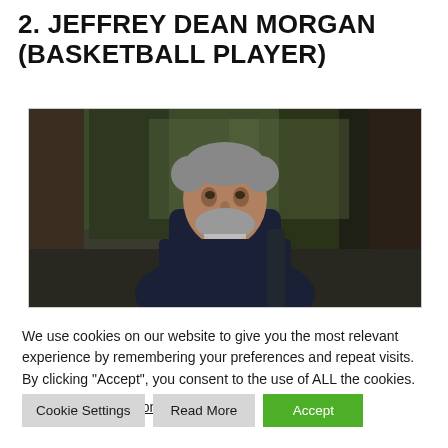2. JEFFREY DEAN MORGAN (BASKETBALL PLAYER)
[Figure (photo): A middle-aged man with grey hair and beard, wearing a dark jacket, standing in front of a wooded outdoor background. Film/TV still image.]
We use cookies on our website to give you the most relevant experience by remembering your preferences and repeat visits. By clicking “Accept”, you consent to the use of ALL the cookies.
Do not sell my personal information.
Cookie Settings   Read More   Accept